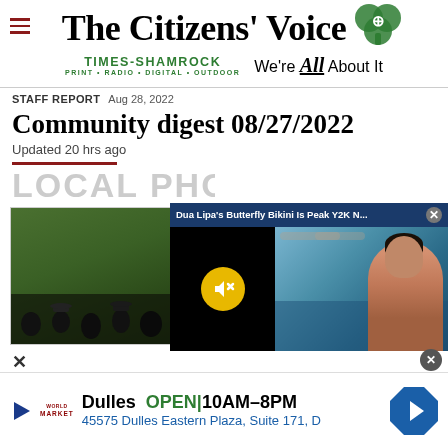The Citizens' Voice | Times-Shamrock | Print · Radio · Digital · Outdoor | We're All About It
STAFF REPORT  Aug 28, 2022
Community digest 08/27/2022
Updated 20 hrs ago
LOCAL PHOTO
[Figure (photo): Local photo section with outdoor crowd/event photo partially visible, overlaid by a video popup showing 'Dua Lipa's Butterfly Bikini Is Peak Y2K N...' with a muted video player on the left and pool scene on the right]
Dulles  OPEN | 10AM–8PM  45575 Dulles Eastern Plaza, Suite 171, D